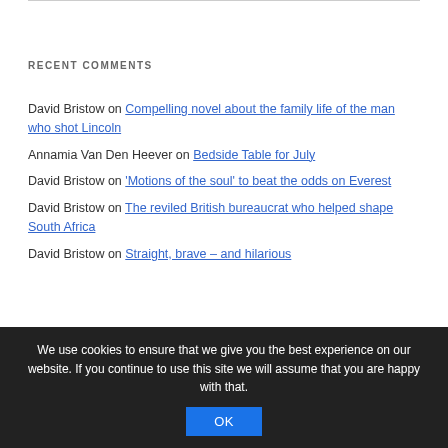RECENT COMMENTS
David Bristow on Compelling novel about the family life of the man who shot Lincoln
Annamia Van Den Heever on Bedside Table for July
David Bristow on 'Motions of the soul' to beat the odds on Everest
David Bristow on The reviled British bureaucrat who helped shape South Africa
David Bristow on Straight, brave – and hilarious
ARCHIVES
We use cookies to ensure that we give you the best experience on our website. If you continue to use this site we will assume that you are happy with that.